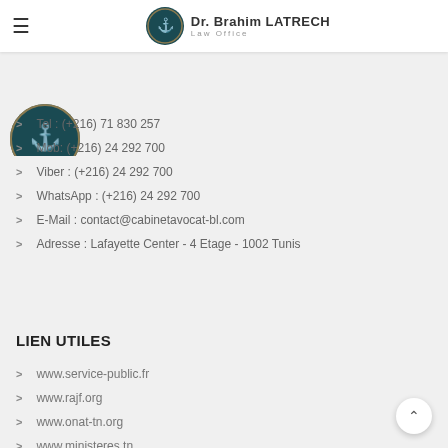Dr. Brahim LATRECH Law Office
[Figure (logo): Partial circular logo of Dr. Brahim LATRECH Law Office, teal/dark green with anchor emblem]
Tel : (+216) 71 830 257
Mob: (+216) 24 292 700
Viber : (+216) 24 292 700
WhatsApp : (+216) 24 292 700
E-Mail : contact@cabinetavocat-bl.com
Adresse : Lafayette Center - 4 Etage - 1002 Tunis
LIEN UTILES
www.service-public.fr
www.rajf.org
www.onat-tn.org
www.ministeres.tn